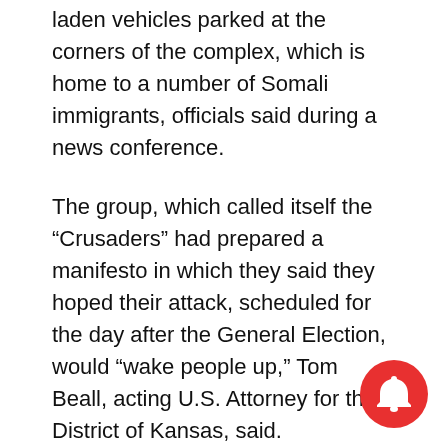laden vehicles parked at the corners of the complex, which is home to a number of Somali immigrants, officials said during a news conference.
The group, which called itself the “Crusaders” had prepared a manifesto in which they said they hoped their attack, scheduled for the day after the General Election, would “wake people up,” Tom Beall, acting U.S. Attorney for the District of Kansas, said.
A confidential source attended meetings of the group and provided the FBI with information about the defendants’ activities. The criminal complaint alleges that the men conducted surveillance t… identify potential targets, stockpiled firearms,